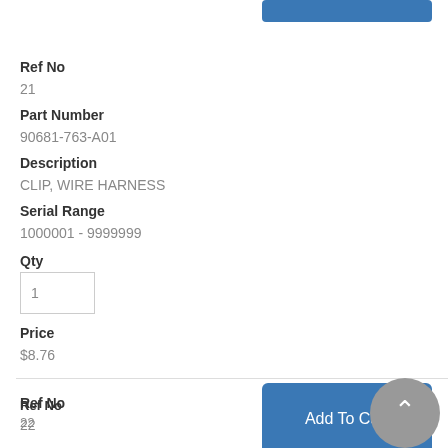Ref No
21
Part Number
90681-763-A01
Description
CLIP, WIRE HARNESS
Serial Range
1000001 - 9999999
Qty
1
Price
$8.76
Add To Cart
Ref No
22
Part Number
91508-GN2-000
Description